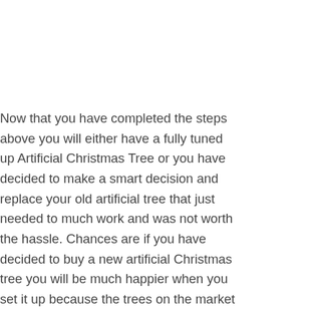Now that you have completed the steps above you will either have a fully tuned up Artificial Christmas Tree or you have decided to make a smart decision and replace your old artificial tree that just needed to much work and was not worth the hassle. Chances are if you have decided to buy a new artificial Christmas tree you will be much happier when you set it up because the trees on the market today have so many more cool features and bells and whistles that are sure to help you ring in the holiday